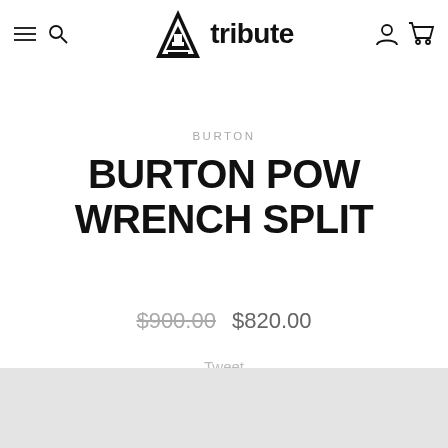tribute (logo with menu and search icons, user and cart icons)
BURTON
BURTON POW WRENCH SPLIT
$900.00  $820.00
Tweet
Save
[Figure (photo): Light grey product image area at the bottom of the page]